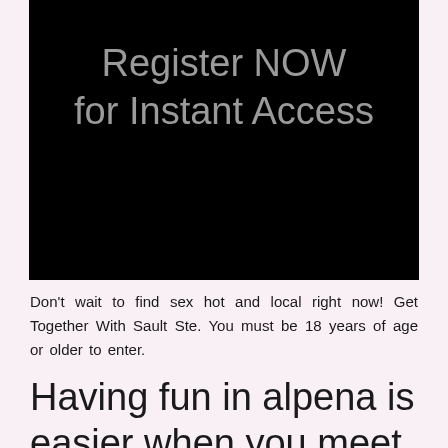[Figure (other): Black banner image with gray text reading 'Register NOW for Instant Access']
Don't wait to find sex hot and local right now! Get Together With Sault Ste. You must be 18 years of age or older to enter.
Having fun in alpena is easier when you meet the right people